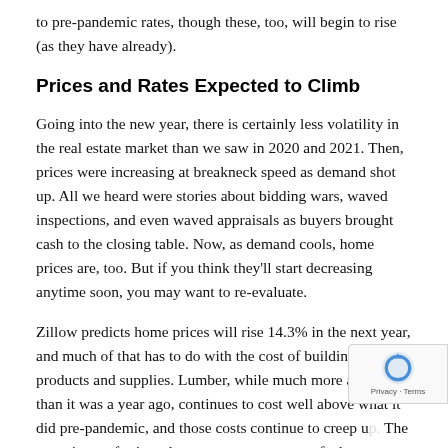to pre-pandemic rates, though these, too, will begin to rise (as they have already).
Prices and Rates Expected to Climb
Going into the new year, there is certainly less volatility in the real estate market than we saw in 2020 and 2021. Then, prices were increasing at breakneck speed as demand shot up. All we heard were stories about bidding wars, waved inspections, and even waved appraisals as buyers brought cash to the closing table. Now, as demand cools, home prices are, too. But if you think they'll start decreasing anytime soon, you may want to re-evaluate.
Zillow predicts home prices will rise 14.3% in the next year, and much of that has to do with the cost of building products and supplies. Lumber, while much more available than it was a year ago, continues to cost well above what it did pre-pandemic, and those costs continue to creep up. The same is true for just about every component of a home — from flooring to HVAC systems to paint. As with housing…